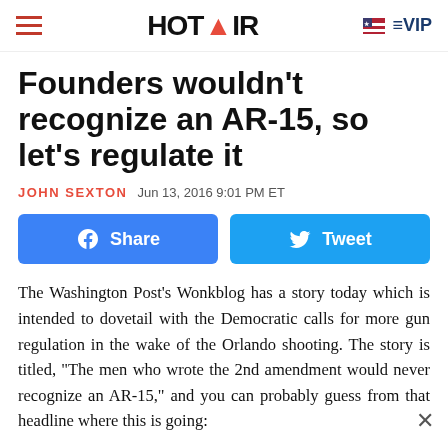HOT AIR  VIP
Founders wouldn't recognize an AR-15, so let's regulate it
JOHN SEXTON  Jun 13, 2016 9:01 PM ET
[Figure (other): Facebook Share button and Twitter Tweet button]
The Washington Post's Wonkblog has a story today which is intended to dovetail with the Democratic calls for more gun regulation in the wake of the Orlando shooting. The story is titled, "The men who wrote the 2nd amendment would never recognize an AR-15," and you can probably guess from that headline where this is going: